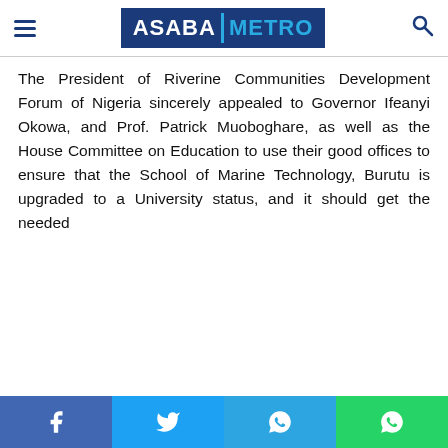ASABA METRO
The President of Riverine Communities Development Forum of Nigeria sincerely appealed to Governor Ifeanyi Okowa, and Prof. Patrick Muoboghare, as well as the House Committee on Education to use their good offices to ensure that the School of Marine Technology, Burutu is upgraded to a University status, and it should get the needed